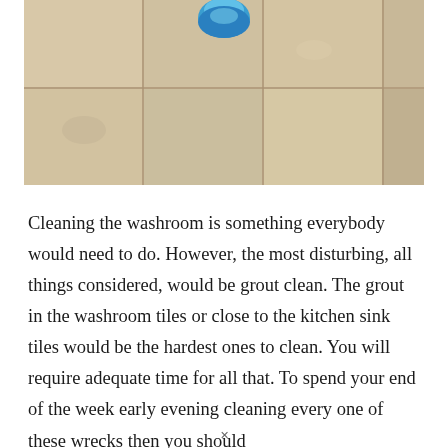[Figure (photo): Photograph of a tiled floor (beige/cream square tiles with grout lines) being cleaned. A blue scrubbing machine or bucket is visible at the top center of the image.]
Cleaning the washroom is something everybody would need to do. However, the most disturbing, all things considered, would be grout clean. The grout in the washroom tiles or close to the kitchen sink tiles would be the hardest ones to clean. You will require adequate time for all that. To spend your end of the week early evening cleaning every one of these wrecks then you should